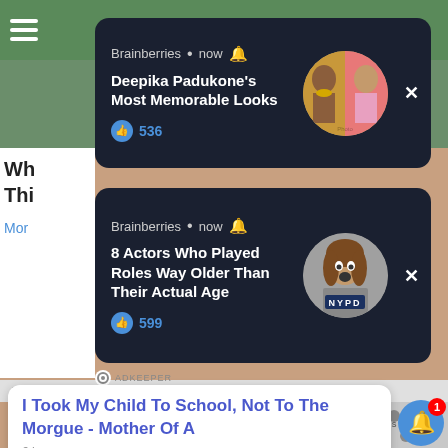[Figure (screenshot): Green top navigation bar with hamburger menu icon]
[Figure (screenshot): Dark notification card 1: Brainberries - Deepika Padukone's Most Memorable Looks, 536 likes, with circular photo of woman in Indian attire]
[Figure (screenshot): Dark notification card 2: Brainberries - 8 Actors Who Played Roles Way Older Than Their Actual Age, 599 likes, with circular photo of woman with NYPD sign]
INTERESTING FOR YOU
[Figure (screenshot): Skin texture close-up image (left panel)]
[Figure (screenshot): Black and white photo of high school team (right panel)]
[Figure (screenshot): White popup card with blue text: I Took My Child To School, Not To The Morgue - Mother Of A, 2 hours ago]
Do You Know What Narcolepsy Is? (Take A Look)
Look For Any High School Ye... It's Free